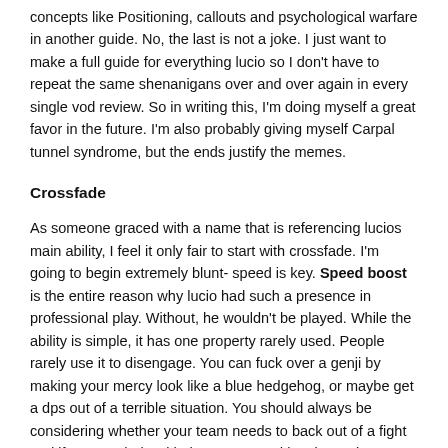concepts like Positioning, callouts and psychological warfare in another guide. No, the last is not a joke. I just want to make a full guide for everything lucio so I don't have to repeat the same shenanigans over and over again in every single vod review. So in writing this, I'm doing myself a great favor in the future. I'm also probably giving myself Carpal tunnel syndrome, but the ends justify the memes.
Crossfade
As someone graced with a name that is referencing lucios main ability, I feel it only fair to start with crossfade. I'm going to begin extremely blunt- speed is key. Speed boost is the entire reason why lucio had such a presence in professional play. Without, he wouldn't be played. While the ability is simple, it has one property rarely used. People rarely use it to disengage. You can fuck over a genji by making your mercy look like a blue hedgehog, or maybe get a dps out of a terrible situation. You should always be considering whether your team needs to back out of a fight and if you can help with that. But speed has it's main purpose in engage. Heroes like Roadhog, Reinhardt, Reaper, Soldier, and others become surprisingly mobile and a dangerous threat. More mobile heroes just get